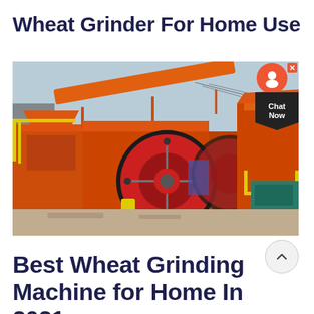Wheat Grinder For Home Use
[Figure (photo): Industrial orange grinding/crushing machine equipment outdoors, with large red flywheel and yellow safety railings, with a 'Chat Now' support widget overlay in the top right corner.]
Best Wheat Grinding Machine for Home In 2021